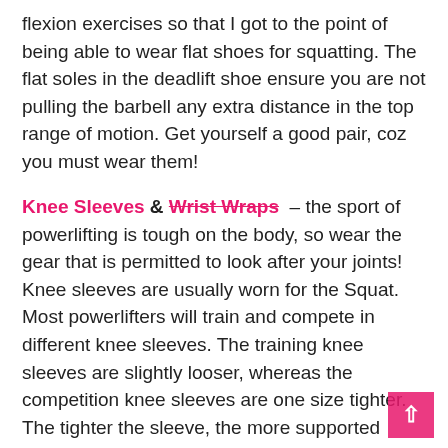flexion exercises so that I got to the point of being able to wear flat shoes for squatting. The flat soles in the deadlift shoe ensure you are not pulling the barbell any extra distance in the top range of motion. Get yourself a good pair, coz you must wear them!
Knee Sleeves & Wrist Wraps – the sport of powerlifting is tough on the body, so wear the gear that is permitted to look after your joints! Knee sleeves are usually worn for the Squat. Most powerlifters will train and compete in different knee sleeves. The training knee sleeves are slightly looser, whereas the competition knee sleeves are one size tighter. The tighter the sleeve, the more supported you'll feel squatting deeper with a heavy weight on your back. Wrist wraps can be worn for the Squat, Bench and Deadlift if you prefer. Wrist wraps come in a variety of sizes from 12-36 inches (30 – 91.5cm). I would suggest buying a pair between 20-24 inches (51 – 61cm), which is a medium length wrap that will give you the support you need without